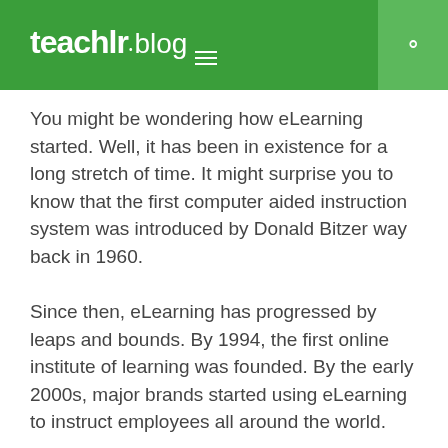teachlr blog
You might be wondering how eLearning started. Well, it has been in existence for a long stretch of time. It might surprise you to know that the first computer aided instruction system was introduced by Donald Bitzer way back in 1960.
Since then, eLearning has progressed by leaps and bounds. By 1994, the first online institute of learning was founded. By the early 2000s, major brands started using eLearning to instruct employees all around the world.
Today, it has bloomed into one of the most valuable industries around. Working hand in hand with the world of ecommerce, eLearning has served